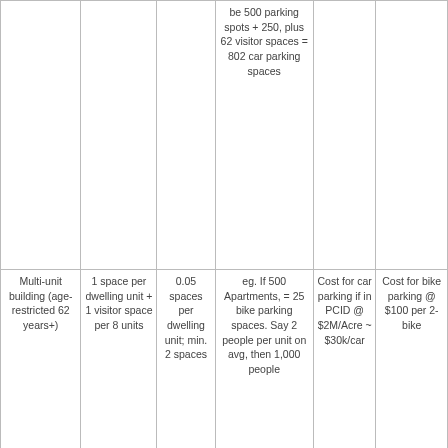|  |  |  |  |  |  |
| --- | --- | --- | --- | --- | --- |
|  |  |  | be 500 parking spots + 250, plus 62 visitor spaces = 802 car parking spaces |  |  |
| Multi-unit building (age-restricted 62 years+) | 1 space per dwelling unit + 1 visitor space per 8 units | 0.05 spaces per dwelling unit; min. 2 spaces | eg. If 500 Apartments, = 25 bike parking spaces. Say 2 people per unit on avg, then 1,000 people | Cost for car parking if in PCID @ $2M/Acre ~ $30k/car | Cost for bike parking @ $100 per 2-bike |